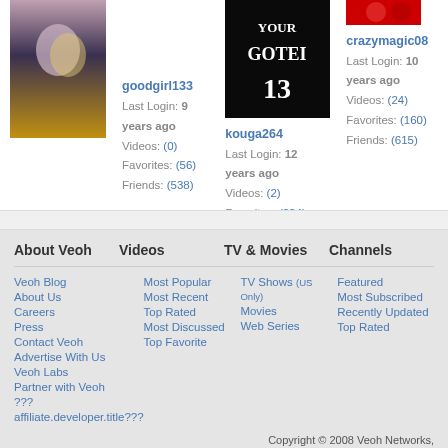[Figure (photo): Anime illustration thumbnail for user goodgirl133]
goodgirl133
Last Login: 9 years ago
Videos: (0)
Favorites: (56)
Friends: (538)
[Figure (illustration): Black background image with text YOUR GOTEI 13 for user kouga264]
kouga264
Last Login: 12 years ago
Videos: (2)
Favorites: (234)
Friends: (798)
[Figure (photo): Partial red image thumbnail for user crazymagic08]
crazymagic08
Last Login: 10 years ago
Videos: (24)
Favorites: (160)
Friends: (615)
About Veoh
Videos
TV & Movies
Channels
Veoh Blog
About Us
Careers
Press
Contact Veoh
Advertise With Us
Veoh Labs
Partner with Veoh
???
affiliate.developer.title???
Most Popular
Most Recent
Top Rated
Most Discussed
Top Favorite
TV Shows (US Only)
Movies
Web Series
Featured
Most Subscribed
Recently Updated
Top Rated
Copyright © 2008 Veoh Networks,